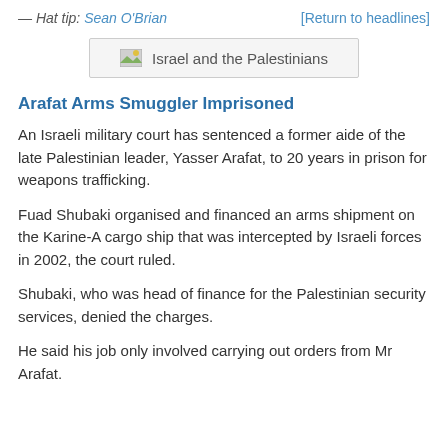— Hat tip: Sean O'Brian   [Return to headlines]
[Figure (other): Image placeholder labeled 'Israel and the Palestinians']
Arafat Arms Smuggler Imprisoned
An Israeli military court has sentenced a former aide of the late Palestinian leader, Yasser Arafat, to 20 years in prison for weapons trafficking.
Fuad Shubaki organised and financed an arms shipment on the Karine-A cargo ship that was intercepted by Israeli forces in 2002, the court ruled.
Shubaki, who was head of finance for the Palestinian security services, denied the charges.
He said his job only involved carrying out orders from Mr Arafat.